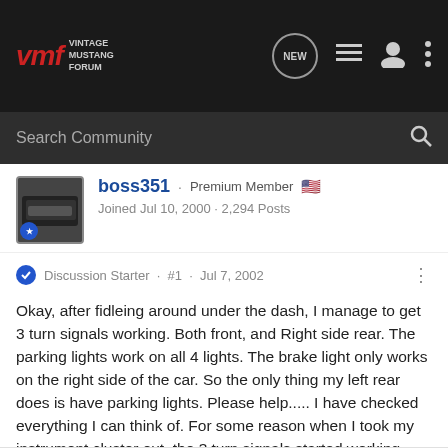VMF Vintage Mustang Forum — Search Community
boss351 · Premium Member — Joined Jul 10, 2000 · 2,294 Posts
Discussion Starter · #1 · Jul 7, 2002
Okay, after fidleing around under the dash, I manage to get 3 turn signals working. Both front, and Right side rear. The parking lights work on all 4 lights. The brake light only works on the right side of the car. So the only thing my left rear does is have parking lights. Please help..... I have checked everything I can think of. For some reason when I took my instrument cluster out, the 3 turn signals started working. Whats the deal? Any ideas people? (midlife)